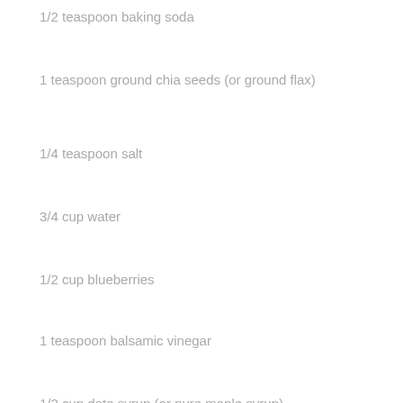1/2 teaspoon baking soda
1 teaspoon ground chia seeds (or ground flax)
1/4 teaspoon salt
3/4 cup water
1/2 cup blueberries
1 teaspoon balsamic vinegar
1/2 cup date syrup (or pure maple syrup)
1 cup blueberries, for serving
Instructions
Preheat the oven to 350 °F. In a bowl, mix the